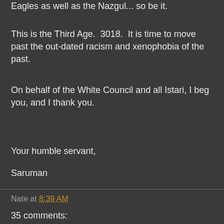Eagles as well as the Nazgul... so be it.
This is the Third Age.  3018.  It is time to move past the out-dated racism and xenophobia of the past.
On behalf of the White Council and all Istari, I beg you, and I thank you.
Your humble servant,
Saruman
Nate at 8:39 AM
35 comments: